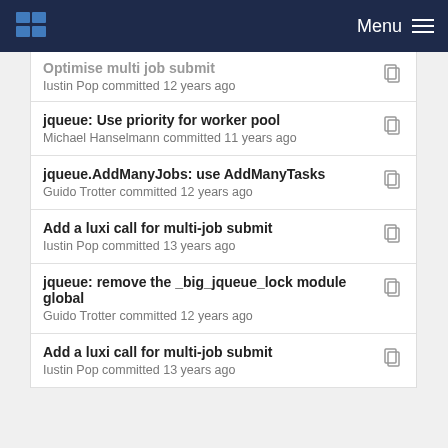Menu
Optimise multi job submit
Iustin Pop committed 12 years ago
jqueue: Use priority for worker pool
Michael Hanselmann committed 11 years ago
jqueue.AddManyJobs: use AddManyTasks
Guido Trotter committed 12 years ago
Add a luxi call for multi-job submit
Iustin Pop committed 13 years ago
jqueue: remove the _big_jqueue_lock module global
Guido Trotter committed 12 years ago
Add a luxi call for multi-job submit
Iustin Pop committed 13 years ago